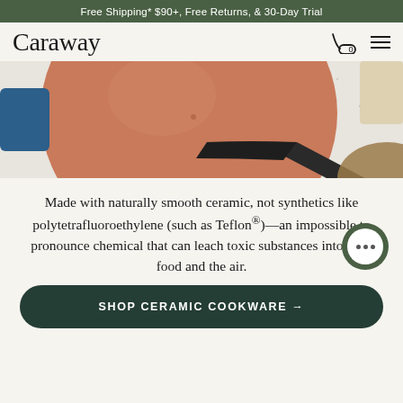Free Shipping* $90+, Free Returns, & 30-Day Trial
Caraway
[Figure (photo): Overhead photo of a terracotta/salmon-colored ceramic frying pan with a black handle on a speckled granite or marble countertop, with other cookware items partially visible.]
Made with naturally smooth ceramic, not synthetics like polytetrafluoroethylene (such as Teflon®)—an impossible to pronounce chemical that can leach toxic substances into your food and the air.
SHOP CERAMIC COOKWARE →